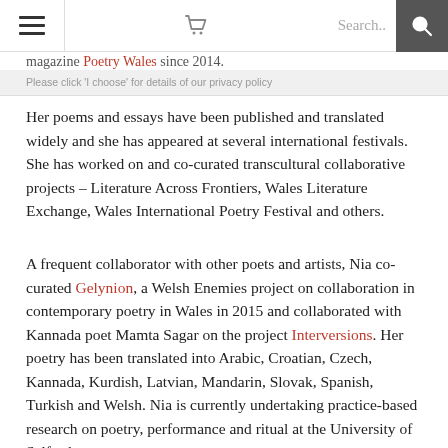Navigation bar with hamburger menu, cart icon, search field, and search button
magazine Poetry Wales since 2014.
Please click 'I choose' for details of our privacy policy
Her poems and essays have been published and translated widely and she has appeared at several international festivals. She has worked on and co-curated transcultural collaborative projects – Literature Across Frontiers, Wales Literature Exchange, Wales International Poetry Festival and others.
A frequent collaborator with other poets and artists, Nia co-curated Gelynion, a Welsh Enemies project on collaboration in contemporary poetry in Wales in 2015 and collaborated with Kannada poet Mamta Sagar on the project Interversions. Her poetry has been translated into Arabic, Croatian, Czech, Kannada, Kurdish, Latvian, Mandarin, Slovak, Spanish, Turkish and Welsh. Nia is currently undertaking practice-based research on poetry, performance and ritual at the University of Salford.